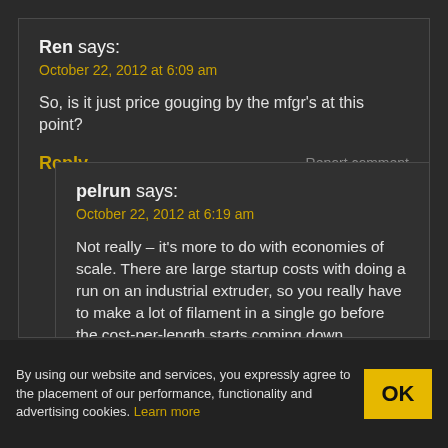Ren says:
October 22, 2012 at 6:09 am
So, is it just price gouging by the mfgr’s at this point?
Reply
Report comment
pelrun says:
October 22, 2012 at 6:19 am
Not really – it’s more to do with economies of scale. There are large startup costs with doing a run on an industrial extruder, so you really have to make a lot of filament in a single go before the cost-per-length starts coming down.
By using our website and services, you expressly agree to the placement of our performance, functionality and advertising cookies. Learn more